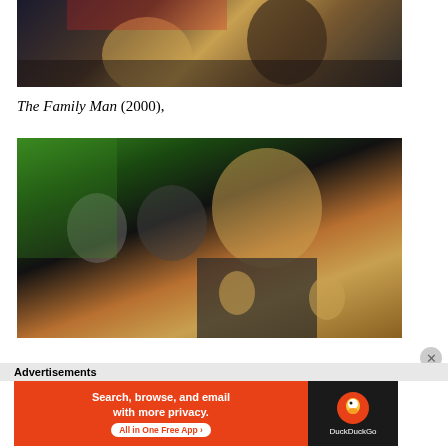[Figure (photo): Movie still from a film showing two men in a car, one in a tan jacket gesturing with his hand]
The Family Man (2000),
[Figure (photo): Movie still showing a man with short blonde hair making a gesture with both hands raised, other figures visible in background]
Advertisements
[Figure (screenshot): DuckDuckGo advertisement banner: Search, browse, and email with more privacy. All in One Free App]